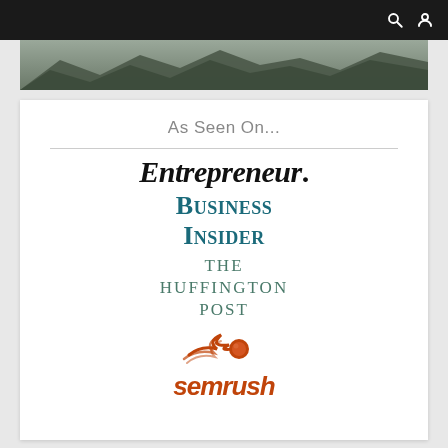Navigation bar with search and user icons
[Figure (photo): Hero image: dark outdoor landscape or mountain scene]
As Seen On...
[Figure (logo): Entrepreneur magazine logo in serif italic bold black font]
[Figure (logo): Business Insider logo in teal/dark cyan serif small-caps bold font]
[Figure (logo): The Huffington Post logo in teal serif uppercase spaced font]
[Figure (logo): SEMrush logo with orange flame/comet icon and bold italic orange-red text]